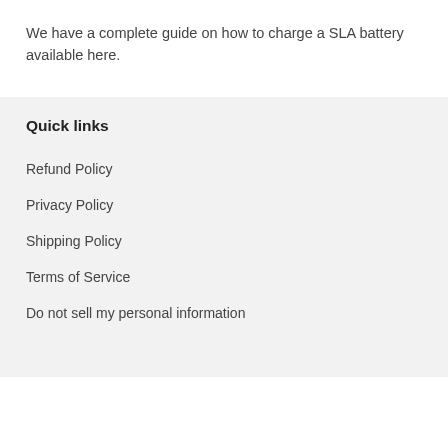We have a complete guide on how to charge a SLA battery available here.
Quick links
Refund Policy
Privacy Policy
Shipping Policy
Terms of Service
Do not sell my personal information